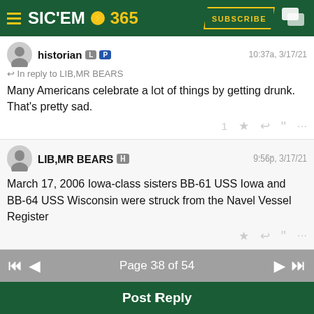SIC'EM 365
historian  10:37a, 3/17/21
In reply to LIB,MR BEARS
Many Americans celebrate a lot of things by getting drunk. That's pretty sad.
LIB,MR BEARS  9:56p, 3/17/21
March 17, 2006 Iowa-class sisters BB-61 USS Iowa and BB-64 USS Wisconsin were struck from the Navel Vessel Register
Page 38 of 54
Post Reply
Forums  Cory Case Chit Chat
[Figure (screenshot): Ad banner showing Baltimore Orioles vs Cleveland baseball game on August 30, 2022 at 10:10 PM at Progressive Field]